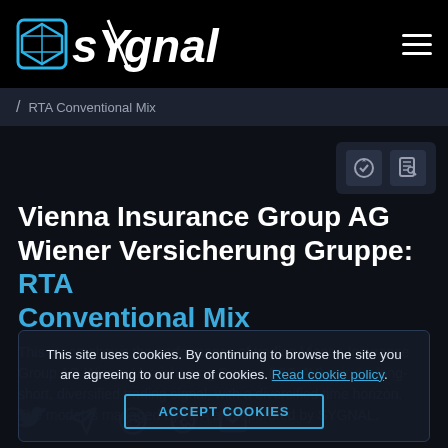sYgnal
/ RTA Conventional Mix
Vienna Insurance Group AG Wiener Versicherung Gruppe: RTA Conventional Mix
This report shows the performance of trading Vienna Insurance Group AG Wiener Versicherung Gruppe (VIG.AV) using a long-short, diversified trading signal, with a diversified time horizon. The model is managed by RTA and operated by SYGNAL.
This site uses cookies. By continuing to browse the site you are agreeing to our use of cookies. Read cookie policy.
ACCEPT COOKIES